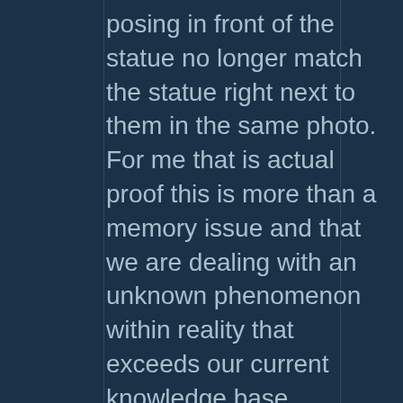posing in front of the statue no longer match the statue right next to them in the same photo. For me that is actual proof this is more than a memory issue and that we are dealing with an unknown phenomenon within reality that exceeds our current knowledge base.
★ Like
REPLY ↓